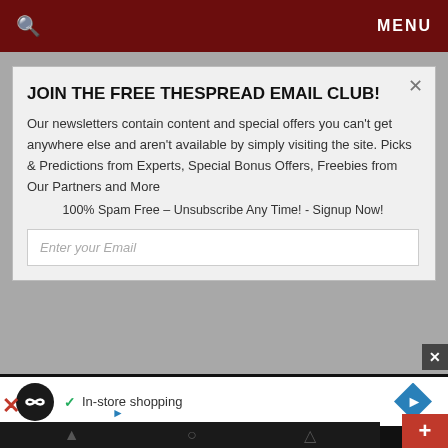🔍  MENU
JOIN THE FREE THESPREAD EMAIL CLUB!
Our newsletters contain content and special offers you can't get anywhere else and aren't available by simply visiting the site. Picks & Predictions from Experts, Special Bonus Offers, Freebies from Our Partners and More
100% Spam Free – Unsubscribe Any Time! - Signup Now!
Enter your Email
[Figure (screenshot): Advertisement banner with store shopping icon and navigation arrow diamond icon]
[Figure (screenshot): Bottom navigation bar with play and close icons, plus button on right]